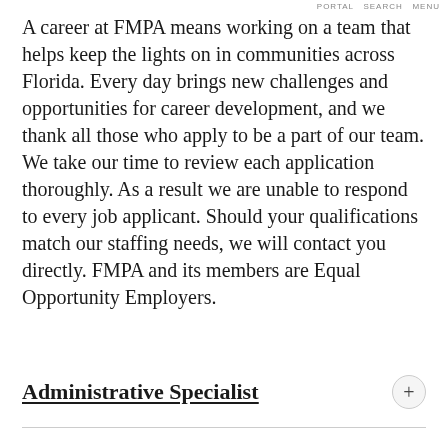PORTAL  SEARCH  MENU
A career at FMPA means working on a team that helps keep the lights on in communities across Florida. Every day brings new challenges and opportunities for career development, and we thank all those who apply to be a part of our team. We take our time to review each application thoroughly. As a result we are unable to respond to every job applicant. Should your qualifications match our staffing needs, we will contact you directly. FMPA and its members are Equal Opportunity Employers.
Administrative Specialist